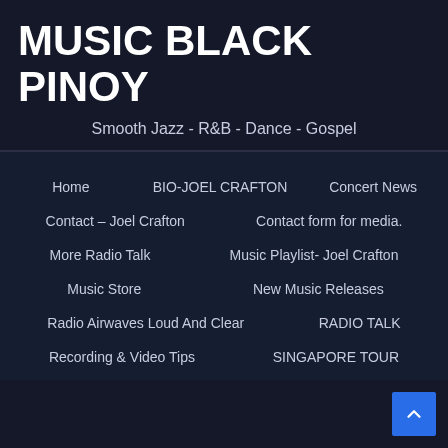MUSIC BLACK PINOY
Smooth Jazz - R&B - Dance - Gospel
Home
BIO-JOEL CRAFTON
Concert News
Contact – Joel Crafton
Contact form for media.
More Radio Talk
Music Playlist- Joel Crafton
Music Store
New Music Releases
Radio Airwaves Loud And Clear
RADIO TALK
Recording & Video Tips
SINGAPORE TOUR